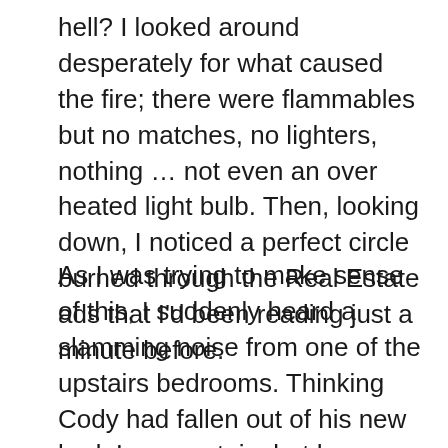hell? I looked around desperately for what caused the fire; there were flammables but no matches, no lighters, nothing … not even an over heated light bulb. Then, looking down, I noticed a perfect circle burned through the Real Estate ads that I'd been reading just a minute before.
As I was trying to make sense of this, I suddenly heard a slamming noise from one of the upstairs bedrooms. Thinking Cody had fallen out of his new bed, I ran upstairs but he was sound asleep against the plastic guard rail. The only thing I couldn't understand was that the window I